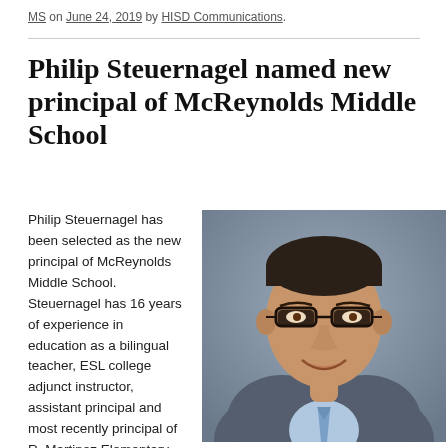MS on June 24, 2019 by HISD Communications.
Philip Steuernagel named new principal of McReynolds Middle School
Philip Steuernagel has been selected as the new principal of McReynolds Middle School. Steuernagel has 16 years of experience in education as a bilingual teacher, ESL college adjunct instructor, assistant principal and most recently principal of R. Martinez Elementary...
[Figure (photo): Professional headshot of Philip Steuernagel, a man wearing glasses, a grey suit, light blue dress shirt and blue tie, smiling, against a grey background.]